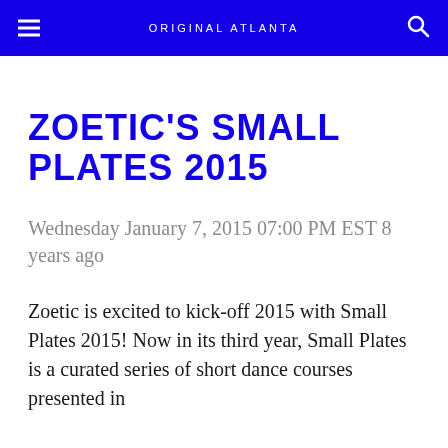ORIGINAL ATLANTA
ZOETIC'S SMALL PLATES 2015
Wednesday January 7, 2015 07:00 PM EST 8 years ago
Zoetic is excited to kick-off 2015 with Small Plates 2015! Now in its third year, Small Plates is a curated series of short dance courses presented in